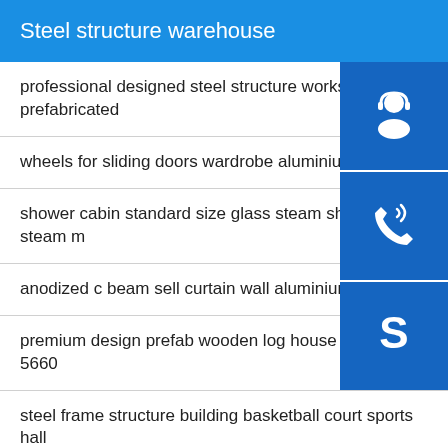Steel structure warehouse
professional designed steel structure workshop prefabricated
wheels for sliding doors wardrobe aluminium sli
shower cabin standard size glass steam shower room steam m
anodized c beam sell curtain wall aluminium
premium design prefab wooden log house cabin foley 5660
steel frame structure building basketball court sports hall